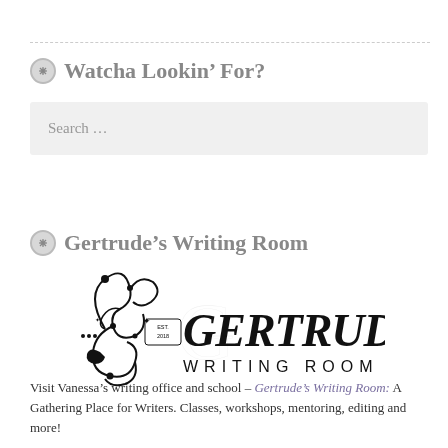Watcha Lookin’ For?
[Figure (other): Search input box with placeholder text 'Search ...']
Gertrude’s Writing Room
[Figure (logo): Gertrude's Writing Room logo with ornate black floral scrollwork and gothic lettering reading 'GERTRUDE'S WRITING ROOM' with 'EST. 2018']
Visit Vanessa’s writing office and school – Gertrude’s Writing Room: A Gathering Place for Writers. Classes, workshops, mentoring, editing and more!